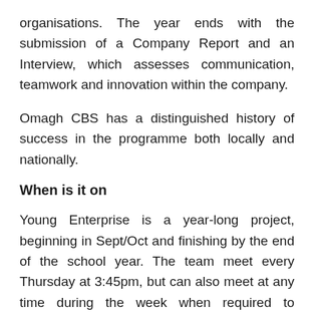organisations. The year ends with the submission of a Company Report and an Interview, which assesses communication, teamwork and innovation within the company.
Omagh CBS has a distinguished history of success in the programme both locally and nationally.
When is it on
Young Enterprise is a year-long project, beginning in Sept/Oct and finishing by the end of the school year. The team meet every Thursday at 3:45pm, but can also meet at any time during the week when required to produce stock, meet suppliers or practise presentations. Time may also be devoted at home in order to complete tasks required for the